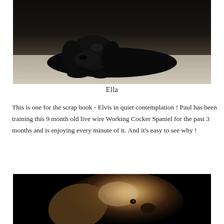[Figure (photo): A black Cocker Spaniel dog lying on a wooden floor, viewed from the front, with a dark background]
Ella
This is one for the scrap book - Elvis in quiet contemplation ! Paul has been training this 9 month old live wire Working Cocker Spaniel for the past 3 months and is enjoying every minute of it. And it's easy to see why !
[Figure (photo): Close-up portrait of a Working Cocker Spaniel with golden and white fur against a black background, looking to the side]